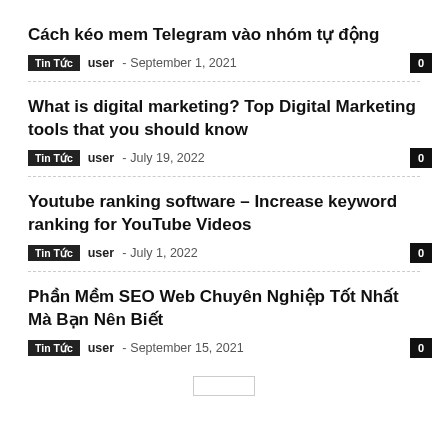Cách kéo mem Telegram vào nhóm tự động
Tin Tức  user  –  September 1, 2021  0
What is digital marketing? Top Digital Marketing tools that you should know
Tin Tức  user  –  July 19, 2022  0
Youtube ranking software – Increase keyword ranking for YouTube Videos
Tin Tức  user  –  July 1, 2022  0
Phần Mềm SEO Web Chuyên Nghiệp Tốt Nhất Mà Bạn Nên Biết
Tin Tức  user  –  September 15, 2021  0